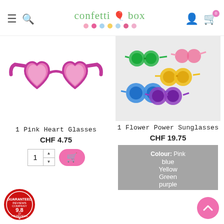[Figure (screenshot): Confetti Box website header with hamburger menu, search icon, logo with colorful dots, user icon, and cart icon with badge showing 0]
[Figure (photo): Pink heart-shaped sunglasses with pink lenses and magenta frames]
1 Pink Heart Glasses
CHF 4.75
[Figure (photo): Multiple colorful flower-shaped sunglasses in green, pink, blue, purple, and yellow]
1 Flower Power Sunglasses
CHF 19.75
Colour: Pink blue Yellow Green purple